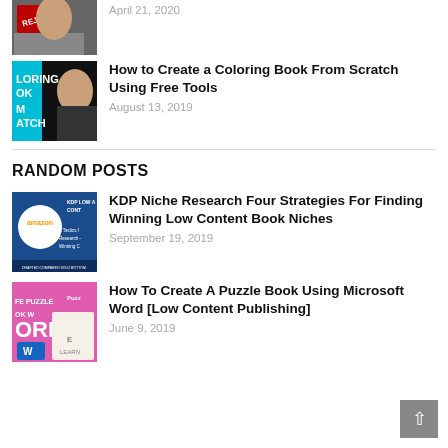[Figure (photo): Partial thumbnail of a person with a REJECTED stamp, cropped at top]
April 21, 2020
[Figure (photo): Thumbnail showing coloring book cover with a woman and text LORING OK M ATCH on dark background with teal accent]
How to Create a Coloring Book From Scratch Using Free Tools
August 13, 2019
RANDOM POSTS
[Figure (photo): Amazon KDP Low Content thumbnail with blue background, amazon logo, text 4 Tactics for Research - Winning]
KDP Niche Research Four Strategies For Finding Winning Low Content Book Niches
September 19, 2019
[Figure (photo): Pink puzzle book thumbnail with ORD text and Microsoft Word logo]
How To Create A Puzzle Book Using Microsoft Word [Low Content Publishing]
June 9, 2019